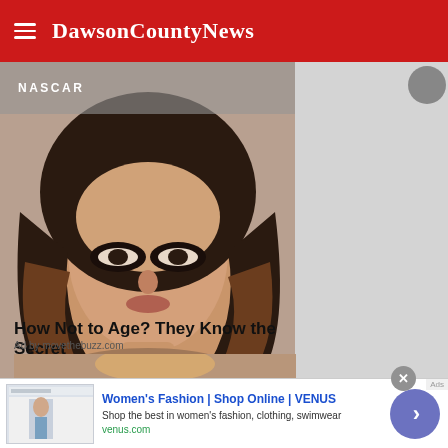DawsonCountyNews
NASCAR
[Figure (photo): Close-up photo of a dark-haired woman with wavy hair and smoky eye makeup]
How Not to Age? They Know the Secret
Ad by movethebuzz.com
[Figure (screenshot): Advertisement banner: Women's Fashion | Shop Online | VENUS. Shop the best in women's fashion, clothing, swimwear. venus.com]
Women's Fashion | Shop Online | VENUS
Shop the best in women's fashion, clothing, swimwear
venus.com